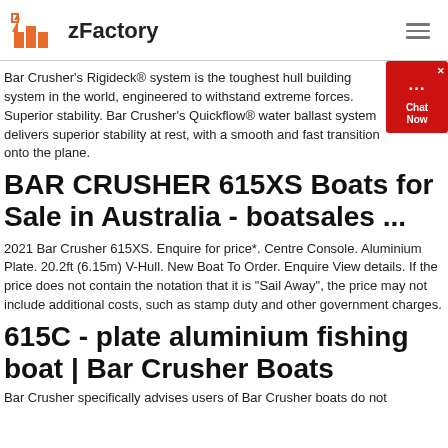zFactory
Bar Crusher's Rigideck® system is the toughest hull building system in the world, engineered to withstand extreme forces. Superior stability. Bar Crusher's Quickflow® water ballast system delivers superior stability at rest, with a smooth and fast transition onto the plane.
BAR CRUSHER 615XS Boats for Sale in Australia - boatsales ...
2021 Bar Crusher 615XS. Enquire for price*. Centre Console. Aluminium Plate. 20.2ft (6.15m) V-Hull. New Boat To Order. Enquire View details. If the price does not contain the notation that it is "Sail Away", the price may not include additional costs, such as stamp duty and other government charges.
615C - plate aluminium fishing boat | Bar Crusher Boats
Bar Crusher specifically advises users of Bar Crusher boats do not